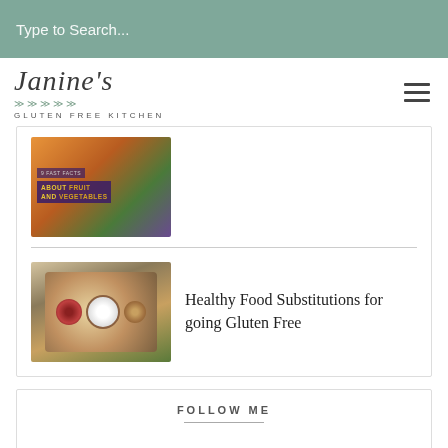Type to Search...
[Figure (logo): Janine's Gluten Free Kitchen logo with script font and leaf decoration]
[Figure (photo): Infographic image about fast facts about fruit and vegetables with purple/orange background]
[Figure (photo): Overhead photo of colorful food bowls with berries, fruits, and avocado on wooden board]
Healthy Food Substitutions for going Gluten Free
FOLLOW ME